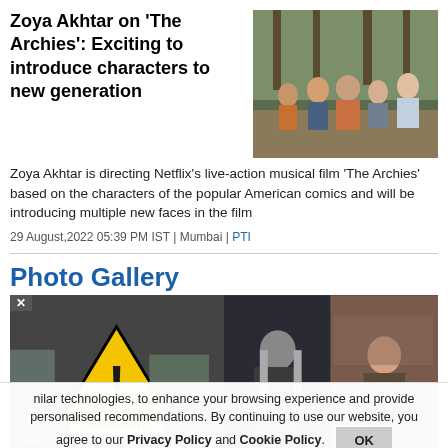Zoya Akhtar on 'The Archies': Exciting to introduce characters to new generation
[Figure (photo): Group photo of cast members of The Archies standing in a forest setting]
Zoya Akhtar is directing Netflix's live-action musical film 'The Archies' based on the characters of the popular American comics and will be introducing multiple new faces in the film
29 August,2022 05:39 PM IST | Mumbai | PTI
Photo Gallery
[Figure (photo): Warning triangle sign with exclamation mark and 'Accident' text on road with traffic cones]
[Figure (photo): Two images side by side: woman with long gray hair and woman sitting]
hilar technologies, to enhance your browsing experience and provide personalised recommendations. By continuing to use our website, you agree to our Privacy Policy and Cookie Policy.